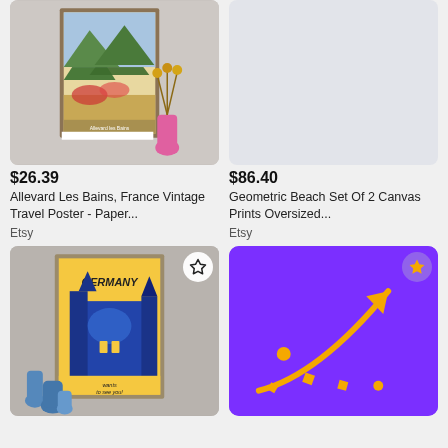[Figure (photo): Framed vintage travel poster of Allevard Les Bains France with pink vase and dried flowers]
[Figure (photo): Light gray placeholder image for Geometric Beach canvas prints]
$26.39
Allevard Les Bains, France Vintage Travel Poster - Paper...
Etsy
$86.40
Geometric Beach Set Of 2 Canvas Prints Oversized...
Etsy
[Figure (photo): Framed Germany vintage travel poster with blue buildings and wants to see you text, with blue vases]
[Figure (illustration): Purple promotional card with gold arrow pointing up-right and gold star badge, with scattered geometric shapes]